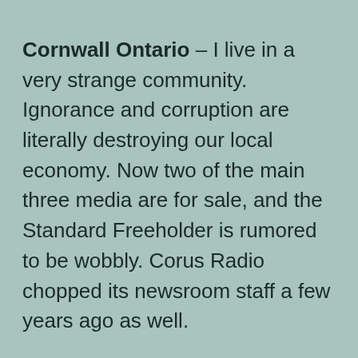Cornwall Ontario – I live in a very strange community. Ignorance and corruption are literally destroying our local economy. Now two of the main three media are for sale, and the Standard Freeholder is rumored to be wobbly. Corus Radio chopped its newsroom staff a few years ago as well.
It's getting harder to get any real news in this community.
When I founded CFN in 2009 it was with positive hope to improve local news coverage in this community which I, and many others,